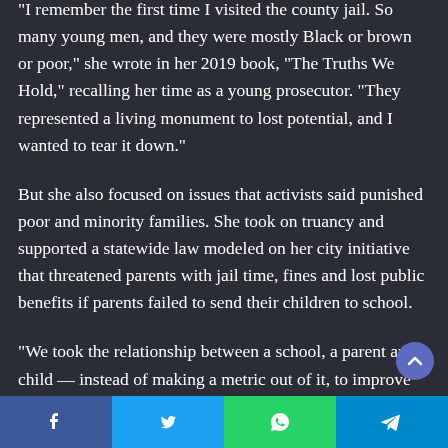“I remember the first time I visited the county jail. So many young men, and they were mostly Black or brown or poor,” she wrote in her 2019 book, “The Truths We Hold,” recalling her time as a young prosecutor. “They represented a living monument to lost potential, and I wanted to tear it down.”
But she also focused on issues that activists said punished poor and minority families. She took on truancy and supported a statewide law modeled on her city initiative that threatened parents with jail time, fines and lost public benefits if parents failed to send their children to school.
“We took the relationship between a school, a parent and a child — instead of making a metric out of it, to improve the opportunities to get to school, to understand the barriers to get to school — we made them criminals,” said Jessica Barthol...
[Figure (other): Social share bar with Facebook, Twitter, WhatsApp, and Telegram buttons]